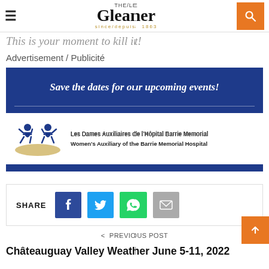THE GLEANER since/depuis 1863
This is your moment to kill it!
Advertisement / Publicité
[Figure (illustration): Dark blue banner with italic text: 'Save the dates for our upcoming events!' with a thin horizontal line below the text. Below the banner is the Women's Auxiliary of the Barrie Memorial Hospital logo with two stylized figures in blue over a gold swoosh, and bilingual text: 'Les Dames Auxiliaires de l'Hôpital Barrie Memorial / Women's Auxiliary of the Barrie Memorial Hospital'. A solid dark blue bar runs across the bottom.]
SHARE
< PREVIOUS POST
Châteauguay Valley Weather June 5-11, 2022